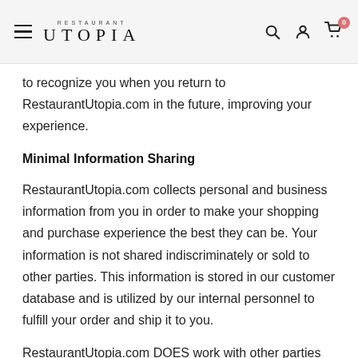RESTAURANT UTOPIA
to recognize you when you return to RestaurantUtopia.com in the future, improving your experience.
Minimal Information Sharing
RestaurantUtopia.com collects personal and business information from you in order to make your shopping and purchase experience the best they can be. Your information is not shared indiscriminately or sold to other parties. This information is stored in our customer database and is utilized by our internal personnel to fulfill your order and ship it to you.
RestaurantUtopia.com DOES work with other parties who act